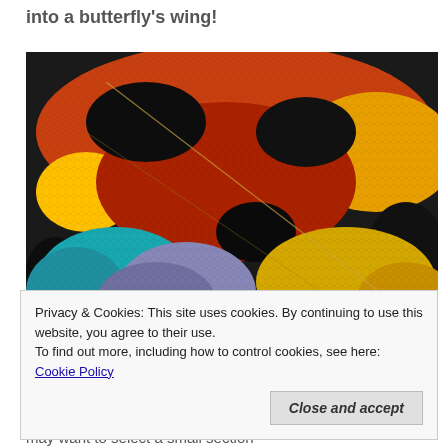into a butterfly's wing!
[Figure (photo): Close-up macro photograph of a butterfly wing showing colorful scales in red, orange, yellow, black, blue, and purple with a honeycomb-like texture]
Privacy & Cookies: This site uses cookies. By continuing to use this website, you agree to their use.
To find out more, including how to control cookies, see here: Cookie Policy
Close and accept
may want to select a small section